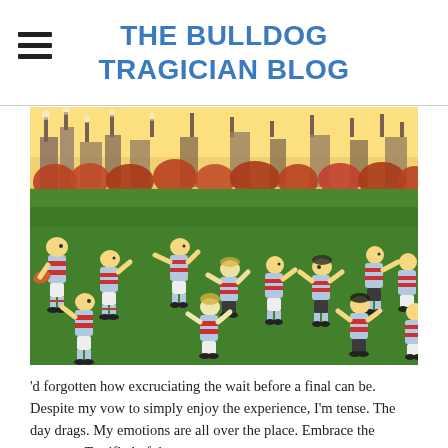THE BULLDOG TRAGICIAN BLOG
[Figure (illustration): Naive folk-art style illustration of Australian rules football players in blue-and-red hooped jerseys running on a green oval, with an industrial cityscape and orange sky in the background.]
'd forgotten how excruciating the wait before a final can be. Despite my vow to simply enjoy the experience, I'm tense. The day drags. My emotions are all over the place. Embrace the moment. Terrified of the moment.